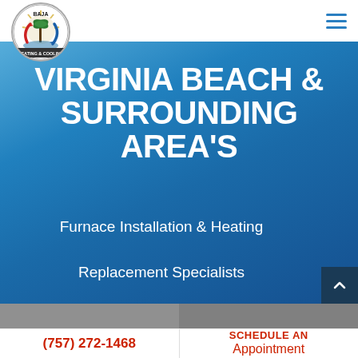[Figure (logo): Baja Heating & Cooling circular logo with palm tree and sun rays, red and blue arrows]
[Figure (other): Hamburger menu icon with three horizontal blue lines]
VIRGINIA BEACH & SURROUNDING AREA'S
Furnace Installation & Heating Replacement Specialists
(757) 272-1468
SCHEDULE AN Appointment